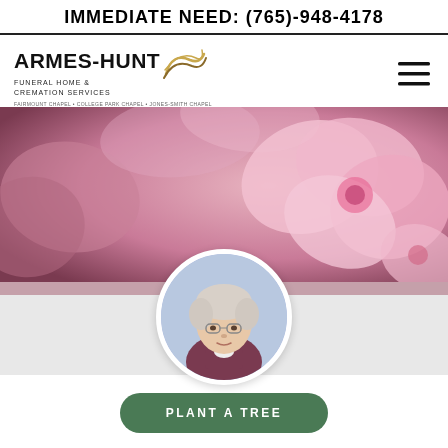IMMEDIATE NEED: (765)-948-4178
[Figure (logo): Armes-Hunt Funeral Home & Cremation Services logo with gold swirl, hamburger menu icon]
FAIRMOUNT CHAPEL • COLLEGE PARK CHAPEL • JONES-SMITH CHAPEL
[Figure (photo): Background of pink cherry blossoms with a circular portrait of an elderly woman with white hair and glasses, wearing a dark jacket]
PLANT A TREE